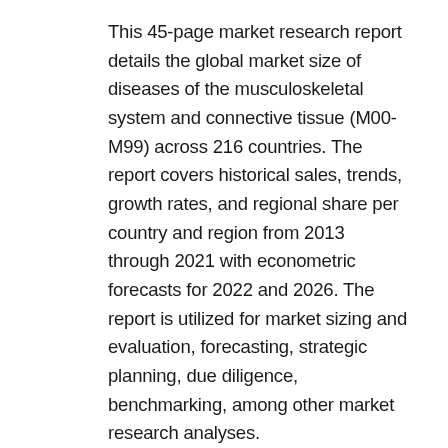This 45-page market research report details the global market size of diseases of the musculoskeletal system and connective tissue (M00-M99) across 216 countries. The report covers historical sales, trends, growth rates, and regional share per country and region from 2013 through 2021 with econometric forecasts for 2022 and 2026. The report is utilized for market sizing and evaluation, forecasting, strategic planning, due diligence, benchmarking, among other market research analyses.